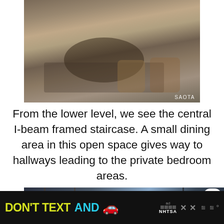[Figure (photo): Interior photo of a lower level dining area with a round dark wood table, chairs, and woven basket storage. Photo credit: SAOTA]
From the lower level, we see the central I-beam framed staircase. A small dining area in this open space gives way to hallways leading to the private bedroom areas.
[Figure (photo): Interior photo of a hallway or bedroom area with large floor-to-ceiling windows, concrete ceiling, and dark curtains. UI overlay shows heart/save button, 471 saves count, and share button.]
[Figure (other): Advertisement banner: DON'T TEXT AND [car emoji] with NHTSA logo and ad badge]